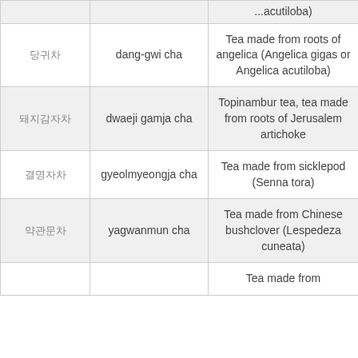| Korean | Romanization | Description |
| --- | --- | --- |
| (partial row) | (partial row) | ...acutiloba) |
| 당귀차 | dang-gwi cha | Tea made from roots of angelica (Angelica gigas or Angelica acutiloba) |
| 돼지감자차 | dwaeji gamja cha | Topinambur tea, tea made from roots of Jerusalem artichoke |
| 결명자차 | gyeolmyeongja cha | Tea made from sicklepod (Senna tora) |
| 약관문차 | yagwanmun cha | Tea made from Chinese bushclover (Lespedeza cuneata) |
| (partial row) | (partial row) | Tea made from... |